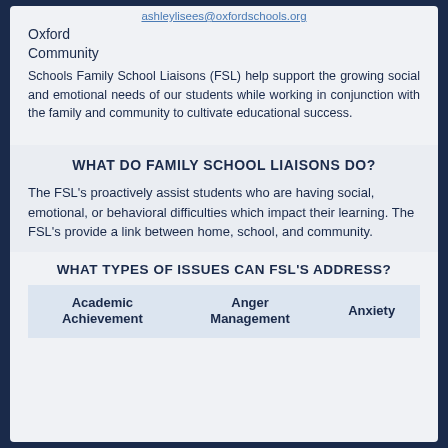ashleylisees@oxfordschools.org
Oxford
Community
Schools Family School Liaisons (FSL) help support the growing social and emotional needs of our students while working in conjunction with the family and community to cultivate educational success.
WHAT DO FAMILY SCHOOL LIAISONS DO?
The FSL's proactively assist students who are having social, emotional, or behavioral difficulties which impact their learning. The FSL's provide a link between home, school, and community.
WHAT TYPES OF ISSUES CAN FSL'S ADDRESS?
| Academic Achievement | Anger Management | Anxiety |
| --- | --- | --- |